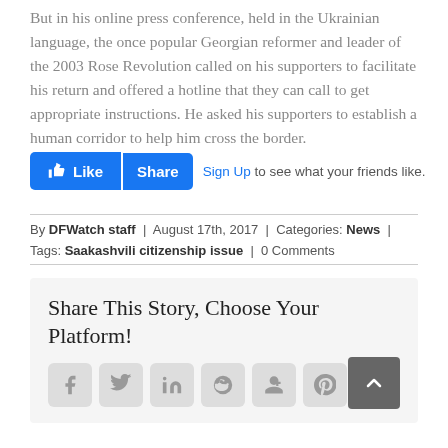But in his online press conference, held in the Ukrainian language, the once popular Georgian reformer and leader of the 2003 Rose Revolution called on his supporters to facilitate his return and offered a hotline that they can call to get appropriate instructions. He asked his supporters to establish a human corridor to help him cross the border.
[Figure (screenshot): Facebook Like and Share buttons with 'Sign Up to see what your friends like.' text]
By DFWatch staff | August 17th, 2017 | Categories: News | Tags: Saakashvili citizenship issue | 0 Comments
Share This Story, Choose Your Platform!
[Figure (infographic): Social sharing icons: Facebook, Twitter, LinkedIn, Reddit, Google+, Pinterest, VK]